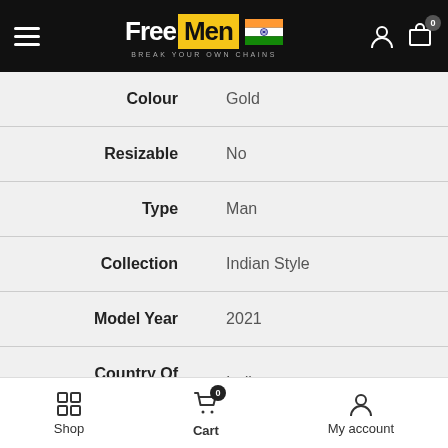FreeMen — BREAK YOUR OWN CHAINS
| Attribute | Value |
| --- | --- |
| Colour | Gold |
| Resizable | No |
| Type | Man |
| Collection | Indian Style |
| Model Year | 2021 |
| Country Of Origin | India |
Shop | Cart 0 | My account